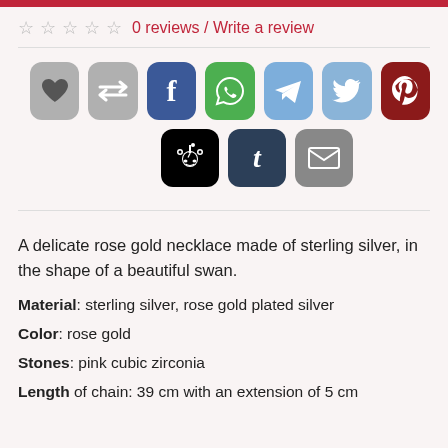0 reviews / Write a review
[Figure (infographic): Row of social media share buttons: heart/wishlist (gray), compare (gray), Facebook (blue), WhatsApp (green), Telegram (light blue), Twitter (light blue), Pinterest (dark red), Reddit (black), Tumblr (dark blue), Email (gray)]
A delicate rose gold necklace made of sterling silver, in the shape of a beautiful swan.
Material: sterling silver, rose gold plated silver
Color: rose gold
Stones: pink cubic zirconia
Length of chain: 39 cm with an extension of 5 cm